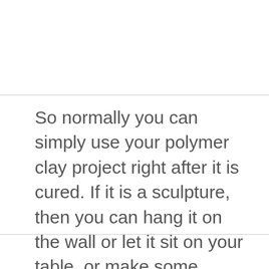So normally you can simply use your polymer clay project right after it is cured. If it is a sculpture, then you can hang it on the wall or let it sit on your table, or make some jewelry with it, no problem.